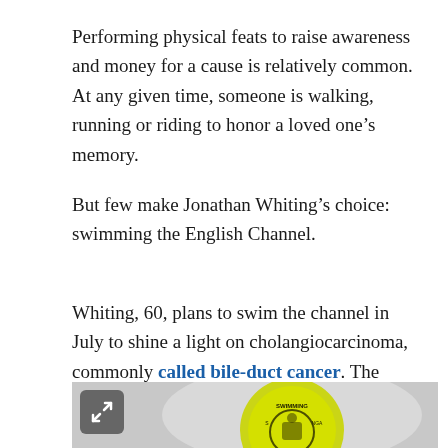Performing physical feats to raise awareness and money for a cause is relatively common. At any given time, someone is walking, running or riding to honor a loved one’s memory.
But few make Jonathan Whiting’s choice: swimming the English Channel.
Whiting, 60, plans to swim the channel in July to shine a light on cholangiocarcinoma, commonly called bile-duct cancer. The disease claimed the life of his wife, Lori B. Whiting, in 2016.
[Figure (photo): A yellow swimming badge or patch with text including 'SWIMMING' and an emblem, shown against a blurred grey background. An expand icon (bracket symbol) appears in the top-left corner of the image.]